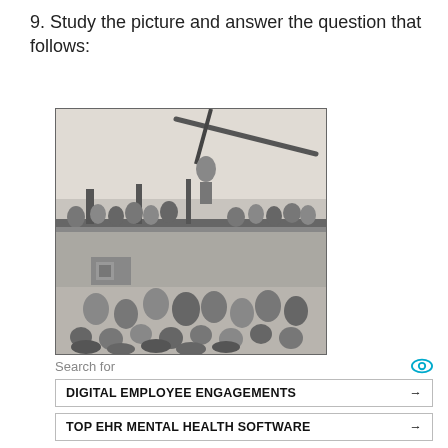9. Study the picture and answer the question that follows:
[Figure (photo): A black and white historical photograph showing a crowd of people near what appears to be a ship or large vessel, with a crane or mechanical arm visible in the upper portion. People are gathered both on the vessel and below it.]
Search for
DIGITAL EMPLOYEE ENGAGEMENTS →
TOP EHR MENTAL HEALTH SOFTWARE →
Yahoo! Search | Sponsored